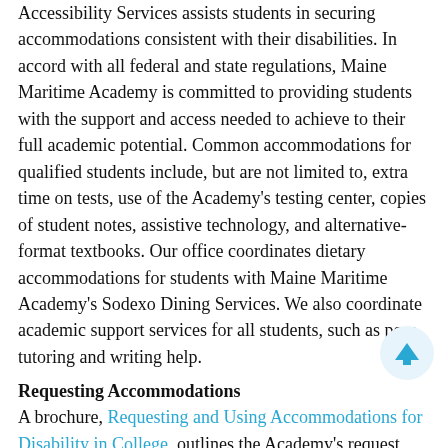Accessibility Services assists students in securing accommodations consistent with their disabilities. In accord with all federal and state regulations, Maine Maritime Academy is committed to providing students with the support and access needed to achieve to their full academic potential. Common accommodations for qualified students include, but are not limited to, extra time on tests, use of the Academy's testing center, copies of student notes, assistive technology, and alternative-format textbooks. Our office coordinates dietary accommodations for students with Maine Maritime Academy's Sodexo Dining Services. We also coordinate academic support services for all students, such as peer-tutoring and writing help.
Requesting Accommodations
A brochure, Requesting and Using Accommodations for Disability in College, outlines the Academy's request procedure and answers some frequently asked questions.